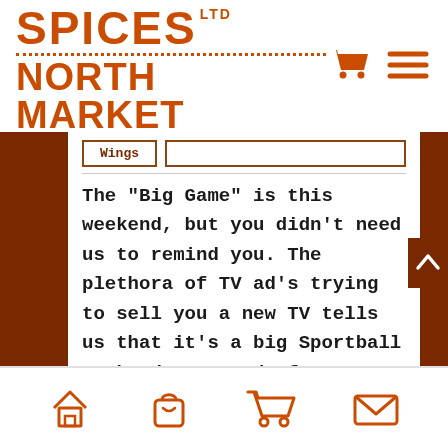[Figure (logo): Spices Ltd North Market logo with orange text and dotted separator line, plus cart and menu icons in top right]
The "Big Game" is this weekend, but you didn't need us to remind you. The plethora of TV ad's trying to sell you a new TV tells us that it's a big Sportball weekend. Instead of greasy, messy chicken wings, serve some good ones to your guests. Baking them in the
[Figure (infographic): Bottom navigation bar with home, shopping bag, cart, and envelope icons in orange]